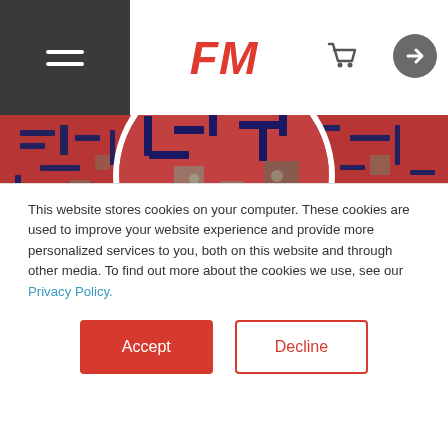[Figure (logo): FM logo in red italic bold text centered in header]
[Figure (photo): Close-up photo of red material with dark blue geometric PCB-like patterns and metallic elements, shown as a horizontal band and circular crop overlay]
[Figure (logo): FM logo large red italic bold text below the circle image]
This website stores cookies on your computer. These cookies are used to improve your website experience and provide more personalized services to you, both on this website and through other media. To find out more about the cookies we use, see our Privacy Policy.